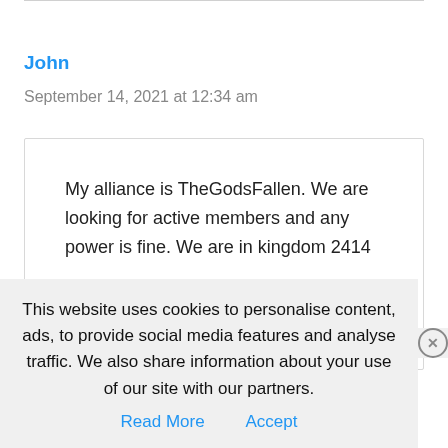John
September 14, 2021 at 12:34 am
My alliance is TheGodsFallen. We are looking for active members and any power is fine. We are in kingdom 2414
This website uses cookies to personalise content, ads, to provide social media features and analyse traffic. We also share information about your use of our site with our partners.
Read More   Accept